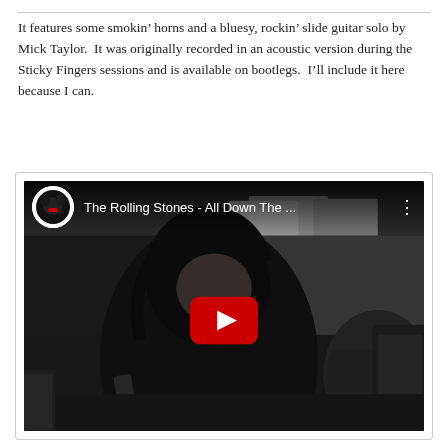It features some smokin' horns and a bluesy, rockin' slide guitar solo by Mick Taylor.  It was originally recorded in an acoustic version during the Sticky Fingers sessions and is available on bootlegs.  I'll include it here because I can.
[Figure (screenshot): Embedded YouTube video thumbnail showing a black and white photo of a guitarist playing, with the video title 'The Rolling Stones - All Down The ...' and a YouTube play button overlay.]